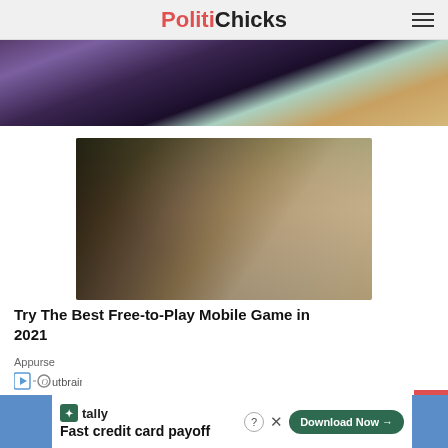PolitiChicks
[Figure (photo): Cropped photo of a person at a dinner table with food, partially visible at the top]
[Figure (photo): Hands holding a smartphone playing a mobile game (Fortnite-style), viewed from above on a table]
Try The Best Free-to-Play Mobile Game in 2021
Appurse
[Figure (logo): Outbrain logo with play icon and circle O]
[Figure (photo): Partial second photo below, cropped at bottom]
Fast credit card payoff
Tally | Fast credit card payoff | Download Now